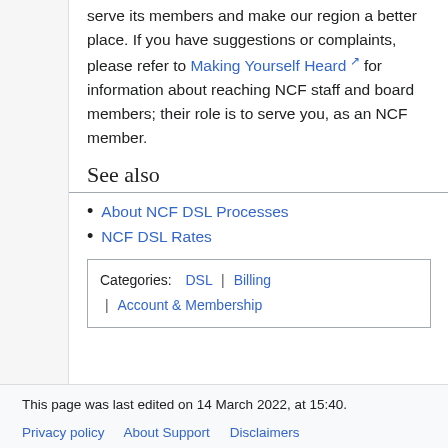serve its members and make our region a better place. If you have suggestions or complaints, please refer to Making Yourself Heard for information about reaching NCF staff and board members; their role is to serve you, as an NCF member.
See also
About NCF DSL Processes
NCF DSL Rates
Categories: DSL | Billing | Account & Membership
This page was last edited on 14 March 2022, at 15:40.
Privacy policy   About Support   Disclaimers